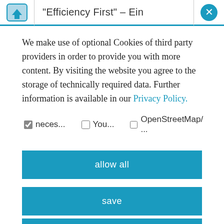"Efficiency First" – Ein
We make use of optional Cookies of third party providers in order to provide you with more content. By visiting the website you agree to the storage of technically required data. Further information is available in our Privacy Policy.
neces...
You...
OpenStreetMap/ ...
allow all
save
deny all